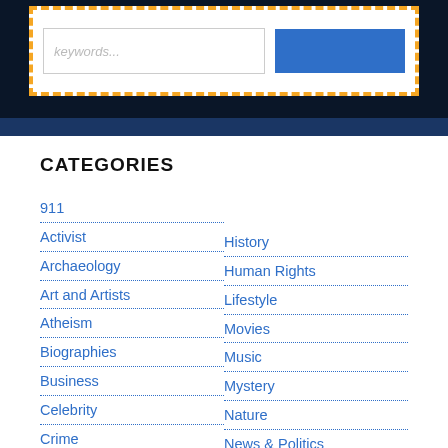[Figure (screenshot): Top banner with orange dashed border box containing a search input and a blue button, on a dark navy background]
CATEGORIES
911
Activist
Archaeology
Art and Artists
Atheism
Biographies
Business
Celebrity
Crime
Conference
History
Human Rights
Lifestyle
Movies
Music
Mystery
Nature
News & Politics
Performing Arts